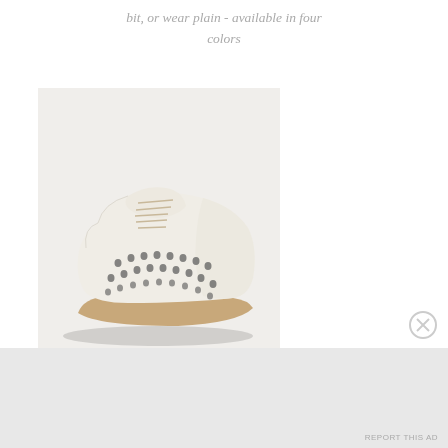bit, or wear plain - available in four colors
[Figure (photo): A cream/off-white perforated leather oxford lace-up flat shoe photographed against a light gray background. The shoe has decorative cutout patterns across the upper and a thin natural leather sole.]
Advertisements